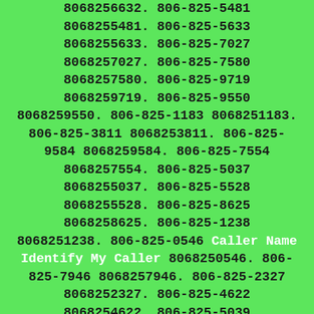8068256632. 806-825-5481 8068255481. 806-825-5633 8068255633. 806-825-7027 8068257027. 806-825-7580 8068257580. 806-825-9719 8068259719. 806-825-9550 8068259550. 806-825-1183 8068251183. 806-825-3811 8068253811. 806-825-9584 8068259584. 806-825-7554 8068257554. 806-825-5037 8068255037. 806-825-5528 8068255528. 806-825-8625 8068258625. 806-825-1238 8068251238. 806-825-0546 Caller Name Identify My Caller 8068250546. 806-825-7946 8068257946. 806-825-2327 8068252327. 806-825-4622 8068254622. 806-825-5039 8068255039. 806-825-0812 Caller Name Identify My Caller 8068250812. 806-825-8160 8068258160. 806-825-3908 8068253908. 806-825-8696 8068258696. 806-825-6018 8068256018. 806-825-6811 8068256811. 806-825-3036 8068253036. 806-825-